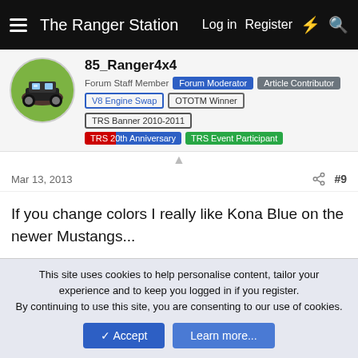The Ranger Station — Log in  Register
85_Ranger4x4
Forum Staff Member  Forum Moderator  Article Contributor
V8 Engine Swap  OTOTM Winner  TRS Banner 2010-2011
TRS 20th Anniversary  TRS Event Participant
Mar 13, 2013  #9
If you change colors I really like Kona Blue on the newer Mustangs...
94 lngbd
New Member  TRS Banner 2010-2011
Mar 14, 2013  #10
This site uses cookies to help personalise content, tailor your experience and to keep you logged in if you register.
By continuing to use this site, you are consenting to our use of cookies.